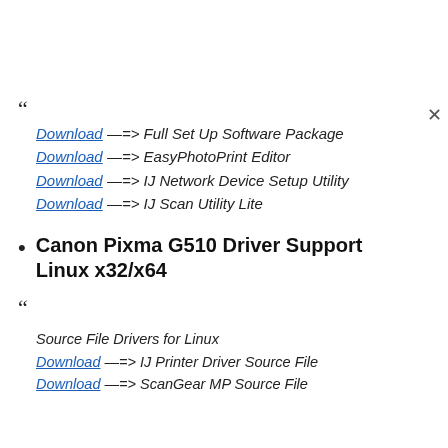Download —=> Full Set Up Software Package
Download —=> EasyPhotoPrint Editor
Download —=> IJ Network Device Setup Utility
Download —=> IJ Scan Utility Lite
Canon Pixma G510 Driver Support Linux x32/x64
Source File Drivers for Linux
Download —=> IJ Printer Driver Source File
Download —=> ScanGear MP Source File